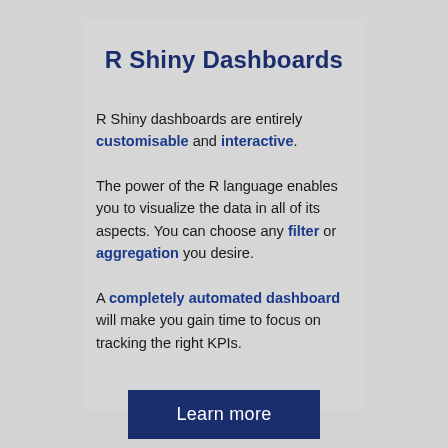R Shiny Dashboards
R Shiny dashboards are entirely customisable and interactive.
The power of the R language enables you to visualize the data in all of its aspects. You can choose any filter or aggregation you desire.
A completely automated dashboard will make you gain time to focus on tracking the right KPIs.
Learn more